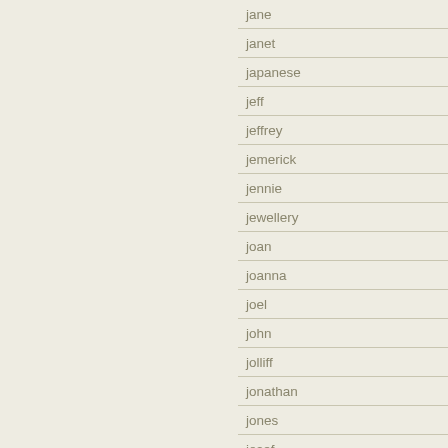jane
janet
japanese
jeff
jeffrey
jemerick
jennie
jewellery
joan
joanna
joel
john
jolliff
jonathan
jones
josef